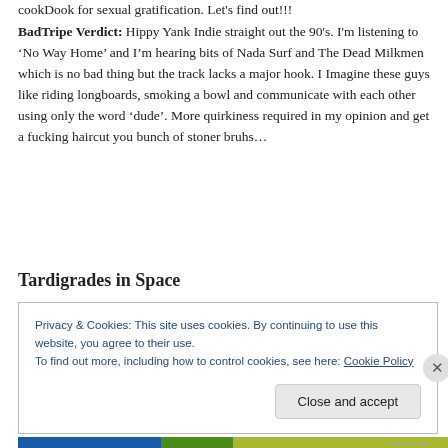cookDook for sexual gratification. Let's find out!!!
BadTripe Verdict: Hippy Yank Indie straight out the 90's. I'm listening to 'No Way Home' and I'm hearing bits of Nada Surf and The Dead Milkmen which is no bad thing but the track lacks a major hook. I Imagine these guys like riding longboards, smoking a bowl and communicate with each other using only the word 'dude'. More quirkiness required in my opinion and get a fucking haircut you bunch of stoner bruhs…
Tardigrades in Space
Privacy & Cookies: This site uses cookies. By continuing to use this website, you agree to their use.
To find out more, including how to control cookies, see here: Cookie Policy